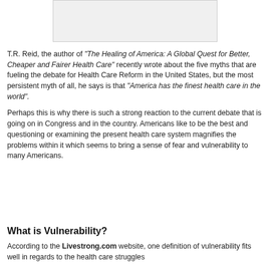[Figure (other): Image placeholder at top of page]
T.R. Reid, the author of "The Healing of America: A Global Quest for Better, Cheaper and Fairer Health Care" recently wrote about the five myths that are fueling the debate for Health Care Reform in the United States, but the most persistent myth of all, he says is that "America has the finest health care in the world".
Perhaps this is why there is such a strong reaction to the current debate that is going on in Congress and in the country. Americans like to be the best and questioning or examining the present health care system magnifies the problems within it which seems to bring a sense of fear and vulnerability to many Americans.
What is Vulnerability?
According to the Livestrong.com website, one definition of vulnerability fits well in regards to the health care struggles